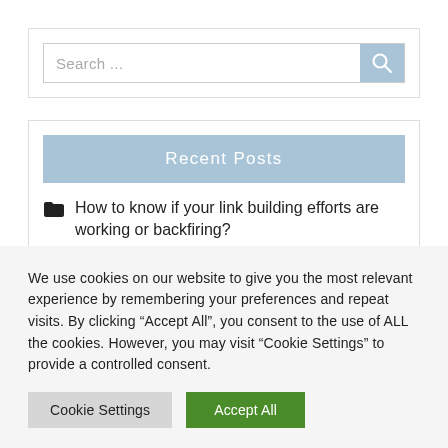[Figure (screenshot): Search input bar with placeholder text 'Search ...' and a blue search button with magnifying glass icon]
Recent Posts
How to know if your link building efforts are working or backfiring?
We use cookies on our website to give you the most relevant experience by remembering your preferences and repeat visits. By clicking “Accept All”, you consent to the use of ALL the cookies. However, you may visit "Cookie Settings" to provide a controlled consent.
Cookie Settings | Accept All